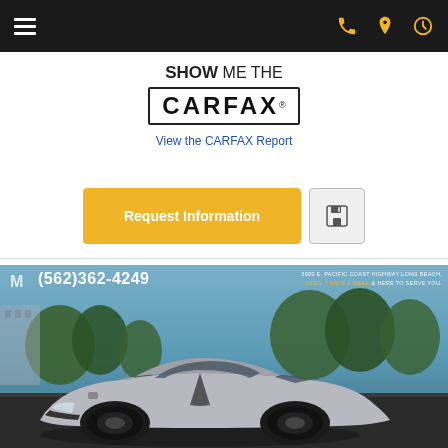Navigation header bar with hamburger menu and icons for phone, location, and hours
[Figure (logo): Show Me The CARFAX logo with link 'View the CARFAX Report']
Request Information
[Figure (photo): Car dealership photo showing a silver Chrysler 300 with black accents, dealership phone (562)362-4249, address 3600 E. Pacific Coast Highway Long Beach, Open 7 Days a Week & Here to Serve You.]